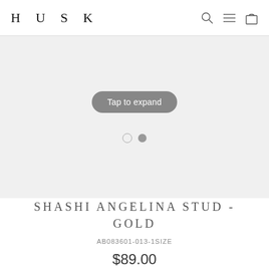HUSK
[Figure (screenshot): Product image area showing a light gray placeholder with a 'Tap to expand' pill button and two navigation dots below (one open circle, one filled circle), indicating a product image carousel.]
SHASHI ANGELINA STUD - GOLD
AB083601-013-1SIZE
$89.00
Tax included. Shipping calculated at checkout.